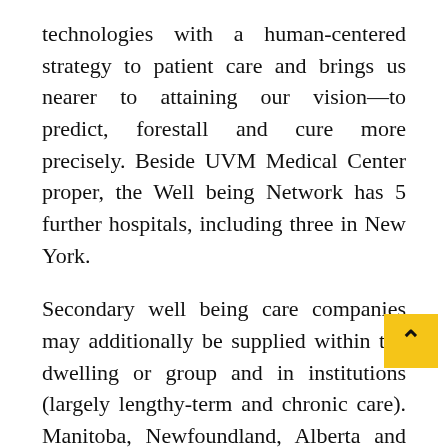technologies with a human-centered strategy to patient care and brings us nearer to attaining our vision—to predict, forestall and cure more precisely. Beside UVM Medical Center proper, the Well being Network has 5 further hospitals, including three in New York.
Secondary well being care companies may additionally be supplied within the dwelling or group and in institutions (largely lengthy-term and chronic care). Manitoba, Newfoundland, Alberta and British Columbia create hospital insurance plans with fed value sharing, July 1.
The Facilities for Medicare and Medicaid